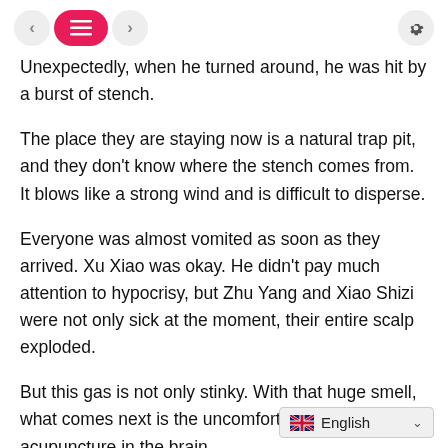< [menu] > [settings]
Unexpectedly, when he turned around, he was hit by a burst of stench.
The place they are staying now is a natural trap pit, and they don't know where the stench comes from. It blows like a strong wind and is difficult to disperse.
Everyone was almost vomited as soon as they arrived. Xu Xiao was okay. He didn't pay much attention to hypocrisy, but Zhu Yang and Xiao Shizi were not only sick at the moment, their entire scalp exploded.
But this gas is not only stinky. With that huge smell, what comes next is the uncomfortable stimulation of acupuncture in the brain.
Then the whole person becam
[Figure (screenshot): Language selector dropdown showing UK flag and 'English' label with chevron]